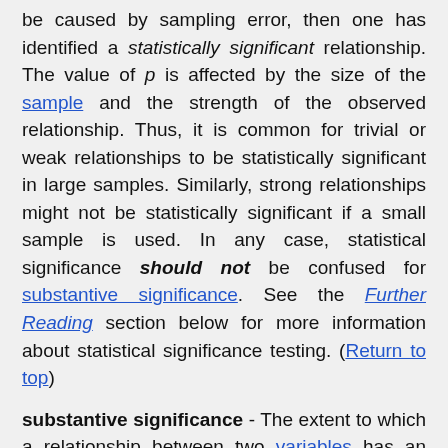be caused by sampling error, then one has identified a statistically significant relationship. The value of p is affected by the size of the sample and the strength of the observed relationship. Thus, it is common for trivial or weak relationships to be statistically significant in large samples. Similarly, strong relationships might not be statistically significant if a small sample is used. In any case, statistical significance should not be confused for substantive significance. See the Further Reading section below for more information about statistical significance testing. (Return to top)
substantive significance - The extent to which a relationship between two variables has an important or practical effect in the real world. For example, a researcher might find a statistically significant relationship between whether students